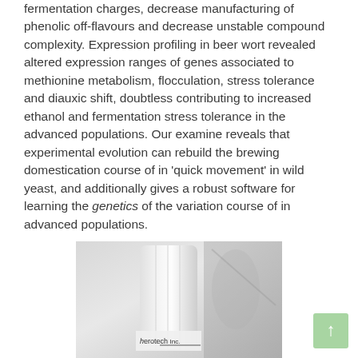fermentation charges, decrease manufacturing of phenolic off-flavours and decrease unstable compound complexity. Expression profiling in beer wort revealed altered expression ranges of genes associated to methionine metabolism, flocculation, stress tolerance and diauxic shift, doubtless contributing to increased ethanol and fermentation stress tolerance in the advanced populations. Our examine reveals that experimental evolution can rebuild the brewing domestication course of in 'quick movement' in wild yeast, and additionally gives a robust software for learning the genetics of the variation course of in advanced populations.
[Figure (photo): A photograph of laboratory equipment showing what appears to be a plastic container or flask with the label 'herotech Inc.' visible at the bottom.]